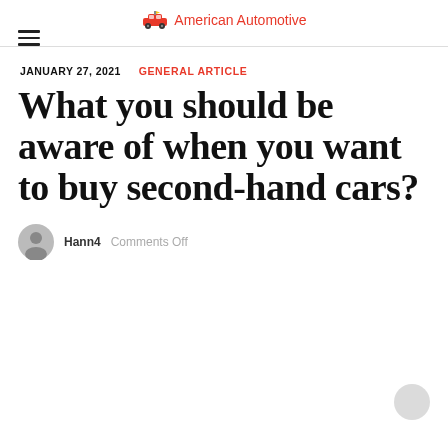American Automotive
JANUARY 27, 2021   GENERAL ARTICLE
What you should be aware of when you want to buy second-hand cars?
Hann4   Comments Off